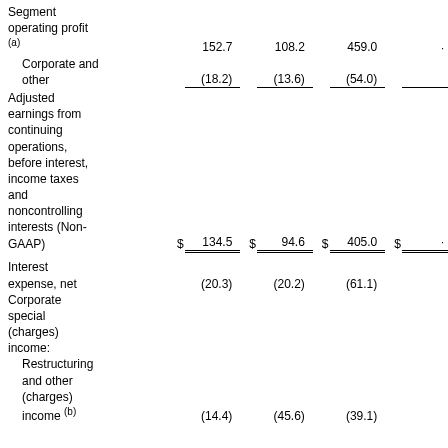|  |  |  |  |  |  |  |  |  |
| --- | --- | --- | --- | --- | --- | --- | --- | --- |
| Segment operating profit (a) | 152.7 | 108.2 | 459.0 |  |
| Corporate and other | (18.2) | (13.6) | (54.0) |  |
| Adjusted earnings from continuing operations, before interest, income taxes and noncontrolling interests (Non-GAAP) | $ | 134.5 | $ | 94.6 | $ | 405.0 | $ |  |
| Interest expense, net | (20.3) | (20.2) | (61.1) |  |
| Corporate special (charges) income: |  |  |  |  |
| Restructuring and other (charges) income (b) | (14.4) | (45.6) | (39.1) |  |